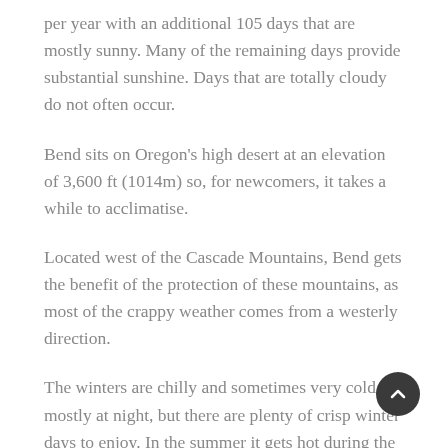per year with an additional 105 days that are mostly sunny. Many of the remaining days provide substantial sunshine. Days that are totally cloudy do not often occur.
Bend sits on Oregon's high desert at an elevation of 3,600 ft (1014m) so, for newcomers, it takes a while to acclimatise.
Located west of the Cascade Mountains, Bend gets the benefit of the protection of these mountains, as most of the crappy weather comes from a westerly direction.
The winters are chilly and sometimes very cold, mostly at night, but there are plenty of crisp winter days to enjoy. In the summer it gets hot during the day, but not oppressively so, and